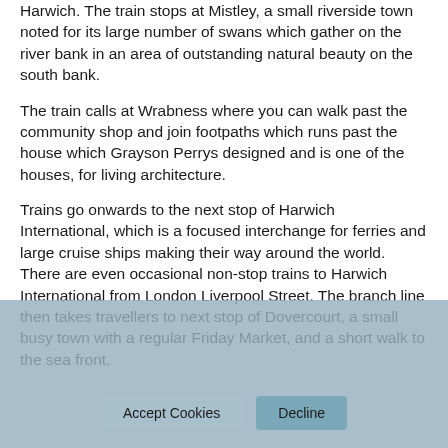Harwich. The train stops at Mistley, a small riverside town noted for its large number of swans which gather on the river bank in an area of outstanding natural beauty on the south bank.
The train calls at Wrabness where you can walk past the community shop and join footpaths which runs past the house which Grayson Perrys designed and is one of the houses, for living architecture.
Trains go onwards to the next stop of Harwich International, which is a focused interchange for ferries and large cruise ships making their way around the world. There are even occasional non-stop trains to Harwich International from London Liverpool Street. The branch line then takes travellers to next stop of Dovercourt, a small busy town with a regular Friday Market, and a short walk to the sea front.